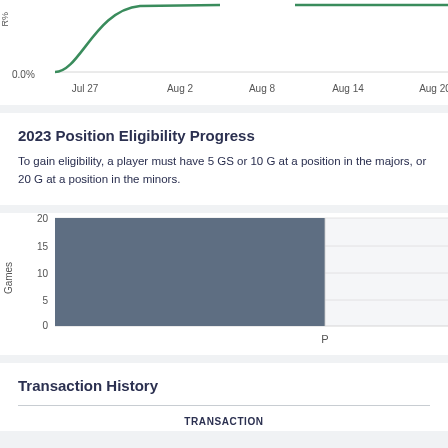[Figure (line-chart): Roster % chart (partial)]
2023 Position Eligibility Progress
To gain eligibility, a player must have 5 GS or 10 G at a position in the majors, or 20 G at a position in the minors.
[Figure (bar-chart): Position Eligibility]
Transaction History
| TRANSACTION |
| --- |